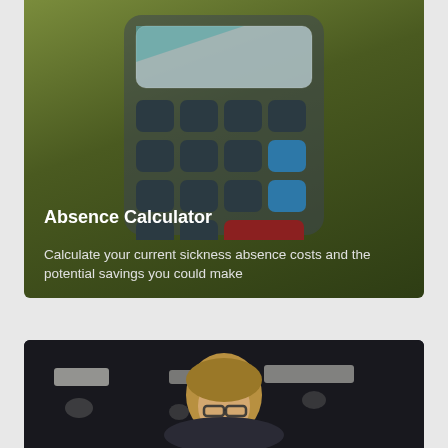[Figure (illustration): Absence Calculator card with green gradient background showing a calculator icon with dark keys, one blue key column and a red key at bottom. Title 'Absence Calculator' in bold white text below the calculator icon.]
Absence Calculator
Calculate your current sickness absence costs and the potential savings you could make
[Figure (photo): Photo of a woman with blonde hair and glasses looking down, in a dark office environment with ceiling lights visible in the background.]